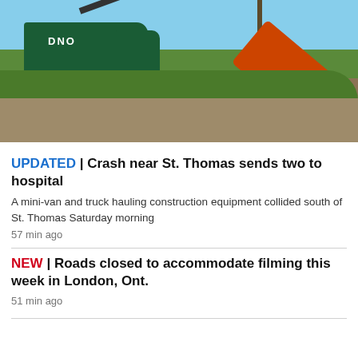[Figure (photo): A green DNO tow truck lifting an overturned orange construction vehicle from a ditch beside a field, with trees and a utility pole in the background on a sunny day.]
UPDATED | Crash near St. Thomas sends two to hospital
A mini-van and truck hauling construction equipment collided south of St. Thomas Saturday morning
57 min ago
NEW | Roads closed to accommodate filming this week in London, Ont.
51 min ago